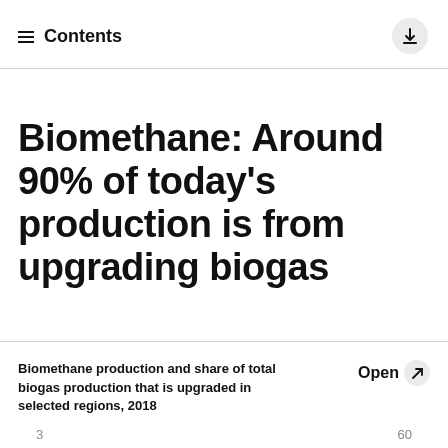Contents
Biomethane: Around 90% of today's production is from upgrading biogas
Biomethane production and share of total biogas production that is upgraded in selected regions, 2018
3 ... 60